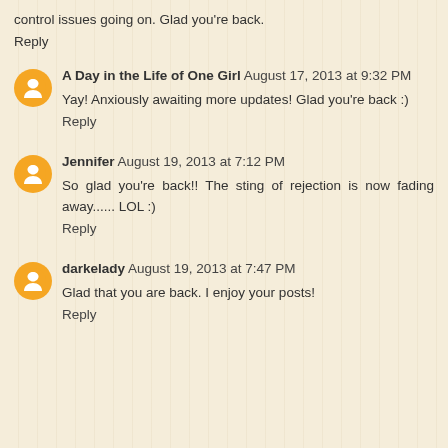control issues going on. Glad you're back.
Reply
A Day in the Life of One Girl August 17, 2013 at 9:32 PM
Yay! Anxiously awaiting more updates! Glad you're back :)
Reply
Jennifer August 19, 2013 at 7:12 PM
So glad you're back!! The sting of rejection is now fading away...... LOL :)
Reply
darkelady August 19, 2013 at 7:47 PM
Glad that you are back. I enjoy your posts!
Reply